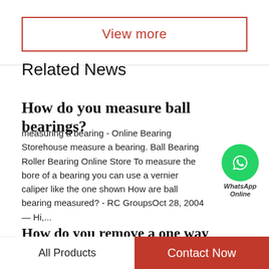View more
Related News
How do you measure ball bearings?
measuring a bearing - Online Bearing Storehouse measure a bearing. Ball Bearing Roller Bearing Online Store To measure the bore of a bearing you can use a vernier caliper like the one shown How are ball bearing measured? - RC GroupsOct 28, 2004 — Hi,...
[Figure (logo): WhatsApp Online chat bubble icon with green circle and phone handset, labeled 'WhatsApp Online']
How do you remove a one way bearing?
One way bearing - 3WHeeLeR WoRLDHi, The one
All Products   Contact Now